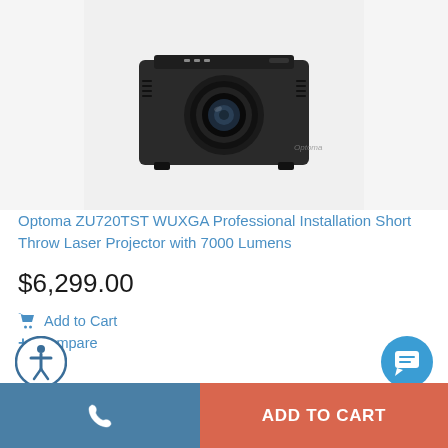[Figure (photo): Black Optoma ZU720TST professional installation laser projector, front view showing lens, on light gray background]
Optoma ZU720TST WUXGA Professional Installation Short Throw Laser Projector with 7000 Lumens
$6,299.00
Add to Cart
Compare
ADD TO CART